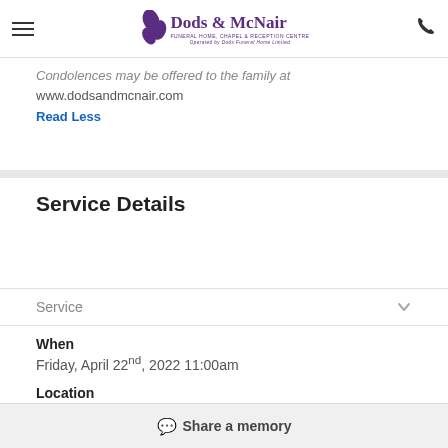Dods & McNair Funeral Home, Chapel & Reception Centre
Condolences may be offered to the family at www.dodsandmcnair.com
Read Less
Service Details
Service
When
Friday, April 22nd, 2022 11:00am
Location
Greenwood Cemetery
Share a memory